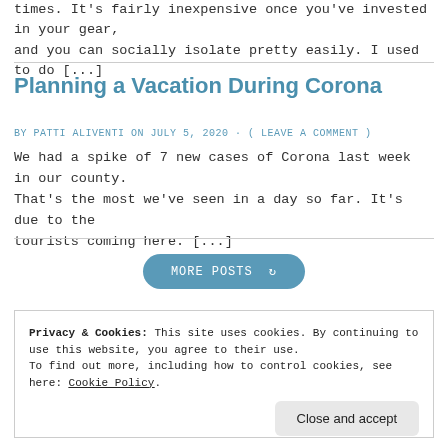times. It's fairly inexpensive once you've invested in your gear, and you can socially isolate pretty easily. I used to do [...]
Planning a Vacation During Corona
BY PATTI ALIVENTI ON JULY 5, 2020 · ( LEAVE A COMMENT )
We had a spike of 7 new cases of Corona last week in our county. That's the most we've seen in a day so far. It's due to the tourists coming here. [...]
MORE POSTS
Privacy & Cookies: This site uses cookies. By continuing to use this website, you agree to their use. To find out more, including how to control cookies, see here: Cookie Policy
Close and accept